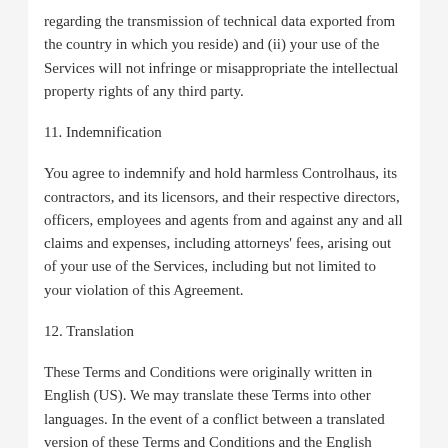regarding the transmission of technical data exported from the country in which you reside) and (ii) your use of the Services will not infringe or misappropriate the intellectual property rights of any third party.
11. Indemnification
You agree to indemnify and hold harmless Controlhaus, its contractors, and its licensors, and their respective directors, officers, employees and agents from and against any and all claims and expenses, including attorneys' fees, arising out of your use of the Services, including but not limited to your violation of this Agreement.
12. Translation
These Terms and Conditions were originally written in English (US). We may translate these Terms into other languages. In the event of a conflict between a translated version of these Terms and Conditions and the English